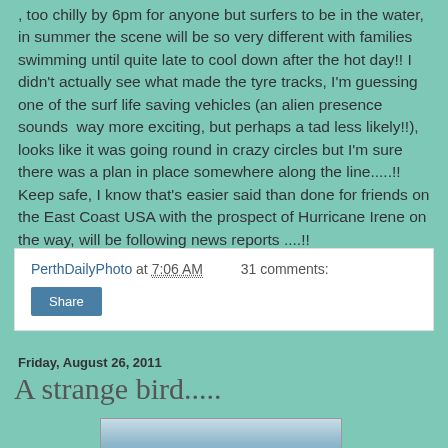, too chilly by 6pm for anyone but surfers to be in the water, in summer the scene will be so very different with families swimming until quite late to cool down after the hot day!! I didn't actually see what made the tyre tracks, I'm guessing one of the surf life saving vehicles (an alien presence sounds  way more exciting, but perhaps a tad less likely!!), looks like it was going round in crazy circles but I'm sure there was a plan in place somewhere along the line.....!! Keep safe, I know that's easier said than done for friends on the East Coast USA with the prospect of Hurricane Irene on the way, will be following news reports ....!!
PerthDailyPhoto at 7:06 AM   31 comments:
Share
Friday, August 26, 2011
A strange bird.....
[Figure (photo): Partial photo of a bird, shown at the bottom of the page, cropped]